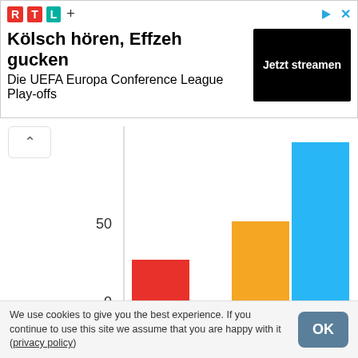[Figure (screenshot): RTL+ advertisement banner: Kölsch hören, Effzeh gucken - Die UEFA Europa Conference League Play-offs - Jetzt streamen]
[Figure (bar-chart): Bar chart with three bars]
We use cookies to give you the best experience. If you continue to use this site we assume that you are happy with it (privacy policy)